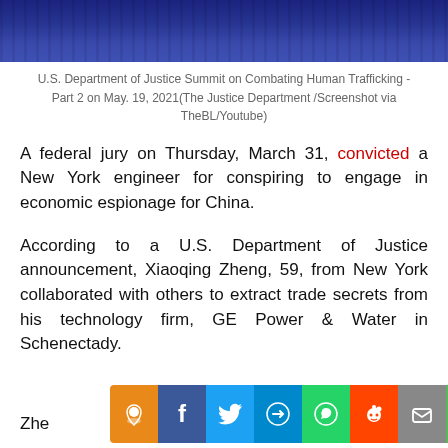[Figure (photo): Blue fabric background — screenshot from U.S. Department of Justice Summit on Combating Human Trafficking video]
U.S. Department of Justice Summit on Combating Human Trafficking - Part 2 on May. 19, 2021(The Justice Department /Screenshot via TheBL/Youtube)
A federal jury on Thursday, March 31, convicted a New York engineer for conspiring to engage in economic espionage for China.
According to a U.S. Department of Justice announcement, Xiaoqing Zheng, 59, from New York collaborated with others to extract trade secrets from his technology firm, GE Power & Water in Schenectady.
Zhe... an
[Figure (infographic): Social share bar with icons: orange location pin, Facebook (f), Twitter bird, Telegram arrow, WhatsApp phone, Reddit alien, email envelope, share icon]